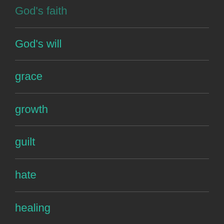God's faith
God's will
grace
growth
guilt
hate
healing
hearing God
heaven